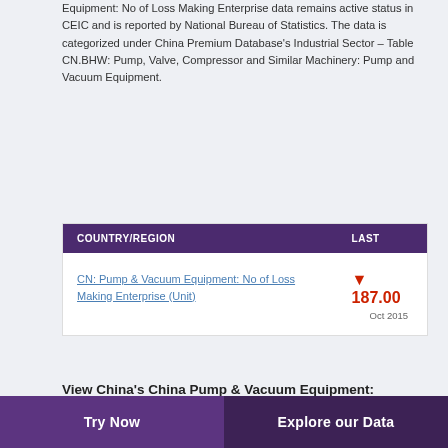Equipment: No of Loss Making Enterprise data remains active status in CEIC and is reported by National Bureau of Statistics. The data is categorized under China Premium Database's Industrial Sector – Table CN.BHW: Pump, Valve, Compressor and Similar Machinery: Pump and Vacuum Equipment.
| COUNTRY/REGION | LAST |
| --- | --- |
| CN: Pump & Vacuum Equipment: No of Loss Making Enterprise (Unit) | ▼ 187.00
Oct 2015 |
View China's China Pump & Vacuum Equipment: Number of Loss Making Enterprise from Dec 2003 to Oct 2015 in the chart:
[Figure (other): Partial y-axis label showing '300' at the top of a chart that is cut off]
Try Now    Explore our Data